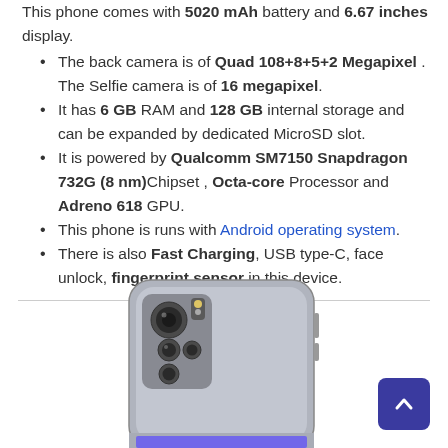This phone comes with 5020 mAh battery and 6.67 inches display.
The back camera is of Quad 108+8+5+2 Megapixel . The Selfie camera is of 16 megapixel.
It has 6 GB RAM and 128 GB internal storage and can be expanded by dedicated MicroSD slot.
It is powered by Qualcomm SM7150 Snapdragon 732G (8 nm)Chipset , Octa-core Processor and Adreno 618 GPU.
This phone is runs with Android operating system.
There is also Fast Charging, USB type-C, face unlock, fingerprint sensor in this device.
[Figure (photo): Rear view of a Xiaomi Redmi Note 10 Pro smartphone in silver/gray color, showing the quad camera module on the back.]